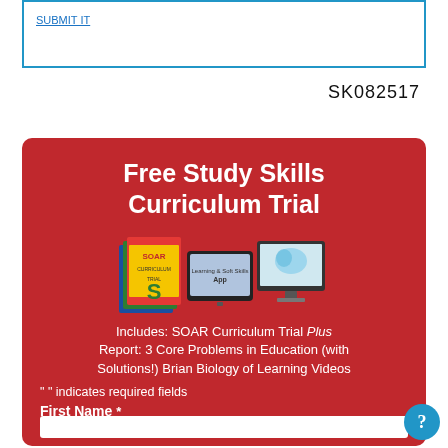[Figure (other): Blue-bordered box at top of page with a truncated hyperlink inside]
SK082517
[Figure (infographic): Red card with white text: 'Free Study Skills Curriculum Trial', product image of SOAR curriculum books, tablet and monitor, text: 'Includes: SOAR Curriculum Trial Plus Report: 3 Core Problems in Education (with Solutions!) Brian Biology of Learning Videos', required fields note, First Name label, and blue help button]
"  " indicates required fields
First Name